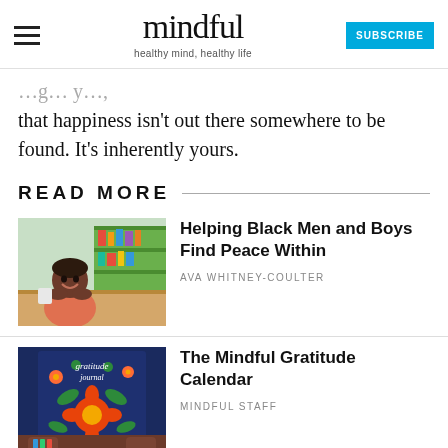mindful — healthy mind, healthy life — SUBSCRIBE
that happiness isn't out there somewhere to be found. It's inherently yours.
READ MORE
[Figure (photo): A smiling Black boy sitting at a desk in a classroom with green shelves in the background, resting his chin on his hands]
Helping Black Men and Boys Find Peace Within
AVA WHITNEY-COULTER
[Figure (photo): A hand holding a 'gratitude journal' book with colorful floral illustration on a dark blue background]
The Mindful Gratitude Calendar
MINDFUL STAFF